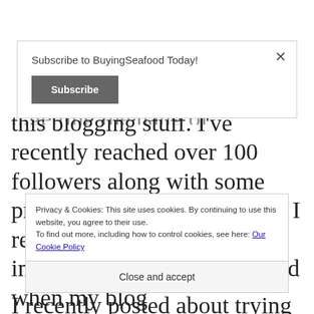[Figure (screenshot): Subscribe modal overlay with 'Subscribe to BuyingSeafood Today!' text and a dark gray Subscribe button, with an X close button in top right corner]
this blogging stuff. I've recently reached over 100 followers along with some pretty high praise from those I respect in the seafood industry. But I still get excited when my blog
I recently posted about trying Pacific Dover
Privacy & Cookies: This site uses cookies. By continuing to use this website, you agree to their use.
To find out more, including how to control cookies, see here: Our Cookie Policy
Close and accept